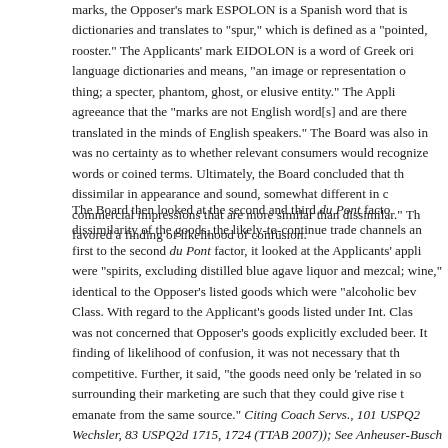marks, the Opposer's mark ESPOLON is a Spanish word that is found in dictionaries and translates to "spur," which is defined as a "pointed, rooster." The Applicants' mark EIDOLON is a word of Greek ori language dictionaries and means, "an image or representation of thing; a specter, phantom, ghost, or elusive entity." The Appli agreeance that the "marks are not English word[s] and are there translated in the minds of English speakers." The Board was also in was no certainty as to whether relevant consumers would recognize words or coined terms. Ultimately, the Board concluded that th dissimilar in appearance and sound, somewhat different in c commercial impressions that are more similar than dissimilar." Th favored a finding of likelihood of confusion.
The Board then looked at the second and third du Pont facto dissimilarity of the goods, the likely-to-continue trade channels an first to the second du Pont factor, it looked at the Applicants' appli were "spirits, excluding distilled blue agave liquor and mezcal; wine," identical to the Opposer's listed goods which were "alcoholic bev Class. With regard to the Applicant's goods listed under Int. Clas was not concerned that Opposer's goods explicitly excluded beer. It finding of likelihood of confusion, it was not necessary that th competitive. Further, it said, "the goods need only be 'related in so surrounding their marketing are such that they could give rise t emanate from the same source." Citing Coach Servs., 101 USPQ2 Wechsler, 83 USPQ2d 1715, 1724 (TTAB 2007)); See Anheuser-Busch argument, the Opposer submitted evidence showing multiple reta and delivery of both beer and liquor, moreover, posts on the App various alcoholic beverages and explained that the same ingredie spirits and beer. Further evidence was submitted showing several be and beer. However, the Board was not convinced of relatedness